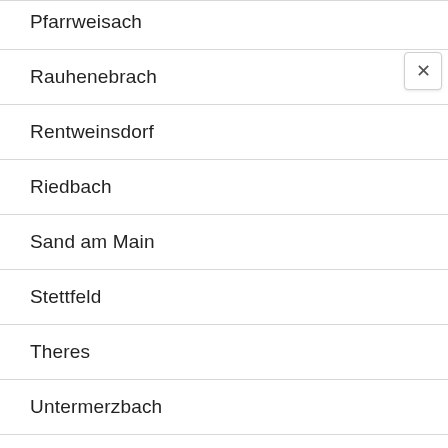Pfarrweisach
Rauhenebrach
Rentweinsdorf
Riedbach
Sand am Main
Stettfeld
Theres
Untermerzbach
Wonfurt